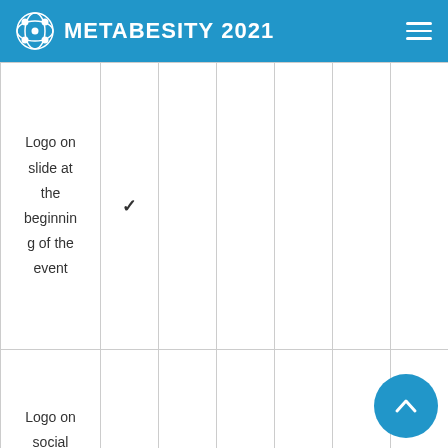METABESITY 2021
| Feature | Col1 | Col2 | Col3 | Col4 | Col5 | Col6 |
| --- | --- | --- | --- | --- | --- | --- |
| Logo on slide at the beginning of the event | ✓ |  |  |  |  |  |
| Logo on social media wall | ✓ | ✓ | ✓ |  |  |  |
| Recognition in | ✓ | ✓ | ✓ |  |  |  |